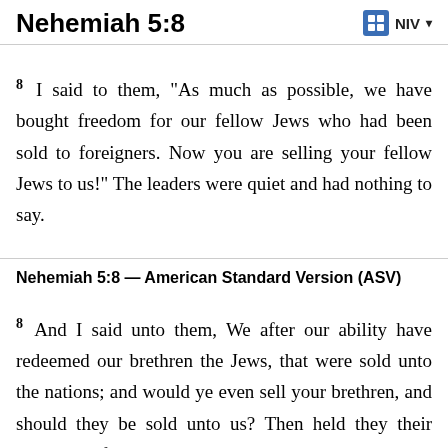Nehemiah 5:8
8 I said to them, “As much as possible, we have bought freedom for our fellow Jews who had been sold to foreigners. Now you are selling your fellow Jews to us!” The leaders were quiet and had nothing to say.
Nehemiah 5:8 — American Standard Version (ASV)
8 And I said unto them, We after our ability have redeemed our brethren the Jews, that were sold unto the nations; and would ye even sell your brethren, and should they be sold unto us? Then held they their peace, and found never a word.